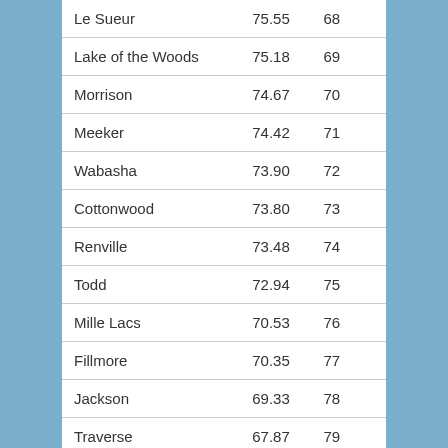| Le Sueur | 75.55 | 68 |
| Lake of the Woods | 75.18 | 69 |
| Morrison | 74.67 | 70 |
| Meeker | 74.42 | 71 |
| Wabasha | 73.90 | 72 |
| Cottonwood | 73.80 | 73 |
| Renville | 73.48 | 74 |
| Todd | 72.94 | 75 |
| Mille Lacs | 70.53 | 76 |
| Fillmore | 70.35 | 77 |
| Jackson | 69.33 | 78 |
| Traverse | 67.87 | 79 |
| Aitkin | 62.36 | 81 |
| Sibley | 67.32 | 80 |